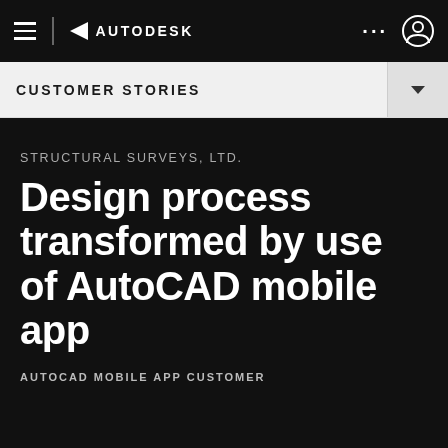≡ | ▲ AUTODESK ... 👤
CUSTOMER STORIES
STRUCTURAL SURVEYS, LTD.
Design process transformed by use of AutoCAD mobile app
AUTOCAD MOBILE APP CUSTOMER